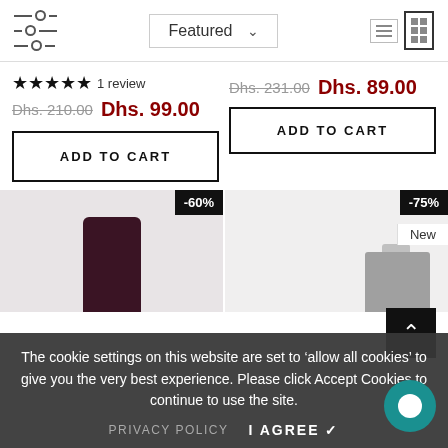[Figure (screenshot): Toolbar with filter icon, Featured sort dropdown, and grid/list view icons]
★★★★★ 1 review
Dhs. 210.00  Dhs. 99.00
Dhs. 231.00  Dhs. 89.00
ADD TO CART
ADD TO CART
-60%
-75%
New
The cookie settings on this website are set to 'allow all cookies' to give you the very best experience. Please click Accept Cookies to continue to use the site.
PRIVACY POLICY
I AGREE ✓